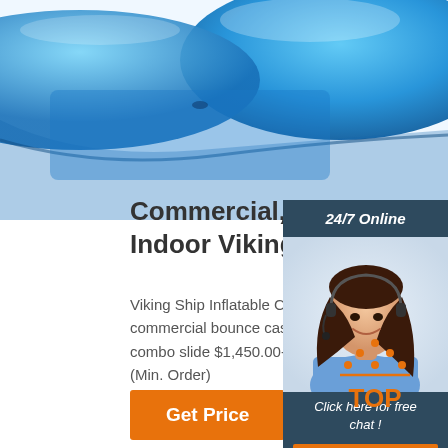[Figure (photo): Blue inflatable Viking ship product photo, partially visible at top of page]
Commercial, Fun Outdoor & Indoor Viking Ship Inflatable
Viking Ship Inflatable Combo inflatable boun commercial bounce castle slide air moonwal combo slide $1,450.00-$1,575.00 Piece 1.0 (Min. Order)
[Figure (photo): Customer service representative woman with headset, smiling, with '24/7 Online' banner header, 'Click here for free chat!' text, and orange QUOTATION button]
[Figure (logo): Orange TOP logo with dotted triangle/hat shape above the word TOP in orange text]